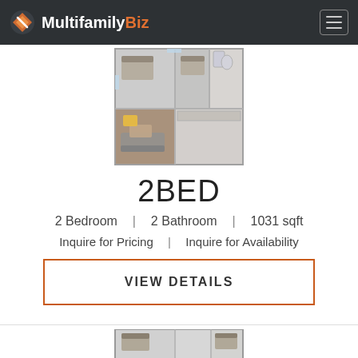MultifamilyBiz
[Figure (illustration): 3D rendered floor plan of a 2-bedroom 2-bathroom apartment unit viewed from above, showing living room, kitchen, two bedrooms, and two bathrooms with furniture]
2BED
2 Bedroom | 2 Bathroom | 1031 sqft
Inquire for Pricing | Inquire for Availability
VIEW DETAILS
[Figure (illustration): 3D rendered floor plan of another apartment unit partially visible at bottom of page]